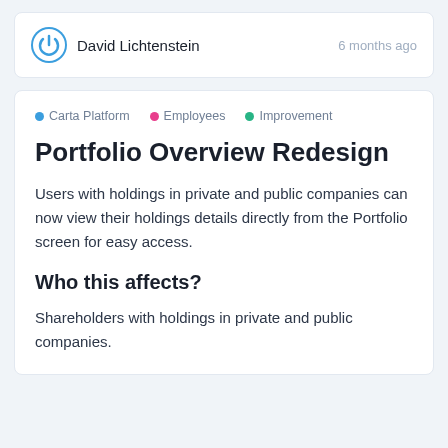David Lichtenstein · 6 months ago
Carta Platform · Employees · Improvement
Portfolio Overview Redesign
Users with holdings in private and public companies can now view their holdings details directly from the Portfolio screen for easy access.
Who this affects?
Shareholders with holdings in private and public companies.